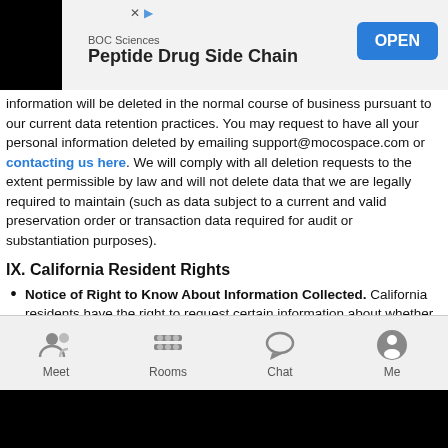[Figure (screenshot): Advertisement banner for BOC Sciences Peptide Drug Side Chain with OPEN button]
information will be deleted in the normal course of business pursuant to our current data retention practices. You may request to have all your personal information deleted by emailing support@mocospace.com or contacting us here. We will comply with all deletion requests to the extent permissible by law and will not delete data that we are legally required to maintain (such as data subject to a current and valid preservation order or transaction data required for audit or substantiation purposes).
IX. California Resident Rights
Notice of Right to Know About Information Collected. California residents have the right to request certain information about whether we collect, use, disclose and sell personal information about them, and to request to know the personal information that we have. To make such a request, please contact us by mail at JNJ Mobile Inc., 6 Liberty Sq PMB 96493, Boston
Meet  Rooms  Chat  Me